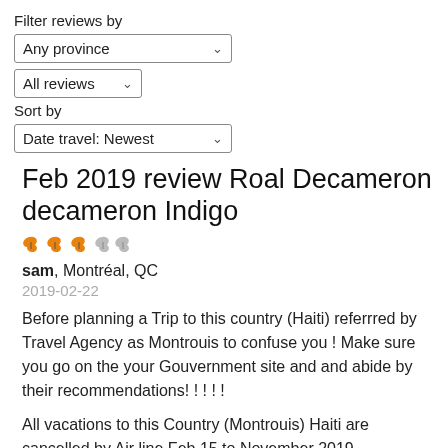Filter reviews by
Any province
All reviews
Sort by
Date travel: Newest
Feb 2019 review Roal Decameron decameron Indigo
sam, Montréal, QC
2019-02-22
Before planning a Trip to this country (Haiti) referrred by Travel Agency as Montrouis to confuse you ! Make sure you go on the your Gouvernment site and and abide by their recommendations! ! ! ! !
All vacations to this Country (Montrouis) Haiti are cancelled by Air line Feb 15 to November 2019
Very Slow Transfer to our hotel Royal Decameron with A